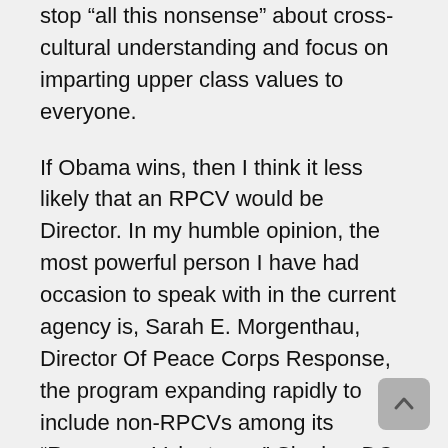stop “all this nonsense” about cross-cultural understanding and focus on imparting upper class values to everyone.

If Obama wins, then I think it less likely that an RPCV would be Director. In my humble opinion, the most powerful person I have had occasion to speak with in the current agency is, Sarah E. Morgenthau, Director Of Peace Corps Response, the program expanding rapidly to include non-RPCVs among its “Response Volunteers.” She is a DC lawyer from Obama’s “Organizing for America.” Even though, Director Williams said that he would change the